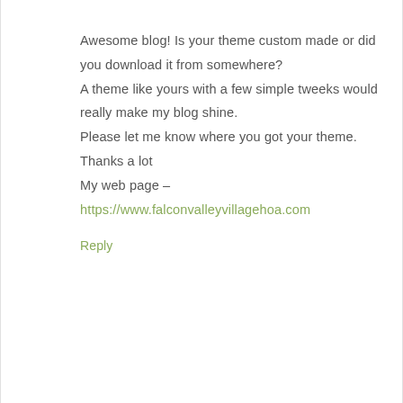Awesome blog! Is your theme custom made or did you download it from somewhere? A theme like yours with a few simple tweeks would really make my blog shine. Please let me know where you got your theme. Thanks a lot My web page – https://www.falconvalleyvillagehoa.com
Reply